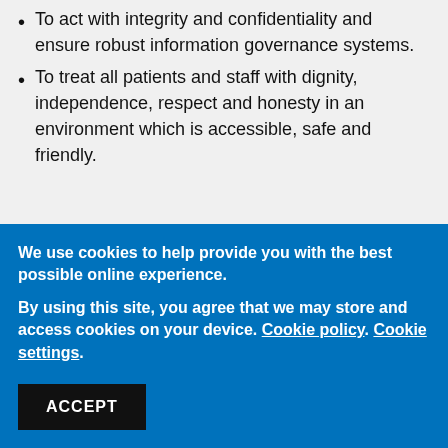To act with integrity and confidentiality and ensure robust information governance systems.
To treat all patients and staff with dignity, independence, respect and honesty in an environment which is accessible, safe and friendly.
We use cookies to help provide you with the best possible online experience.
By using this site, you agree that we may store and access cookies on your device. Cookie policy. Cookie settings.